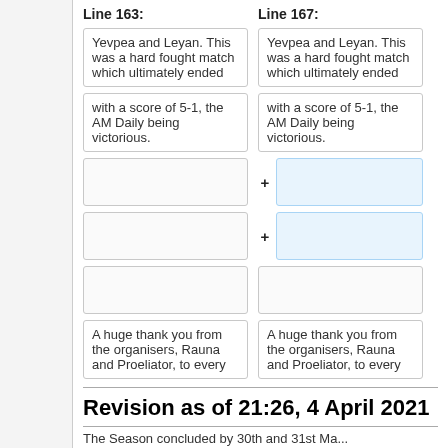Line 163:
Line 167:
Yevpea and Leyan. This was a hard fought match which ultimately ended
Yevpea and Leyan. This was a hard fought match which ultimately ended
with a score of 5-1, the AM Daily being victorious.
with a score of 5-1, the AM Daily being victorious.
A huge thank you from the organisers, Rauna and Proeliator, to every
A huge thank you from the organisers, Rauna and Proeliator, to every
Revision as of 21:26, 4 April 2021
The Season concluded by 30th and 31st Ma...